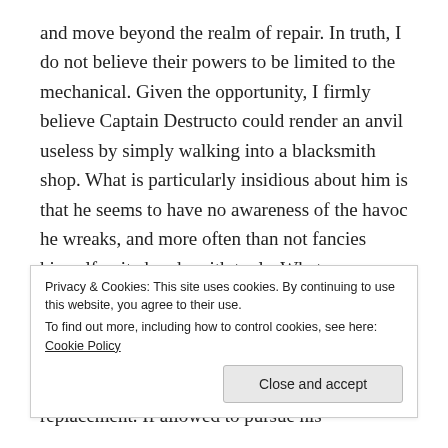and move beyond the realm of repair. In truth, I do not believe their powers to be limited to the mechanical. Given the opportunity, I firmly believe Captain Destructo could render an anvil useless by simply walking into a blacksmith shop. What is particularly insidious about him is that he seems to have no awareness of the havoc he wreaks, and more often than not fancies himself quite handy with tools. Whatever you do, never, under any circumstances let him near any functioning object if he has so much as a screwdriver in his hand, unless of course the object is well-insured and/or in need of replacement. If allowed to pursue his
Privacy & Cookies: This site uses cookies. By continuing to use this website, you agree to their use.
To find out more, including how to control cookies, see here: Cookie Policy
Close and accept